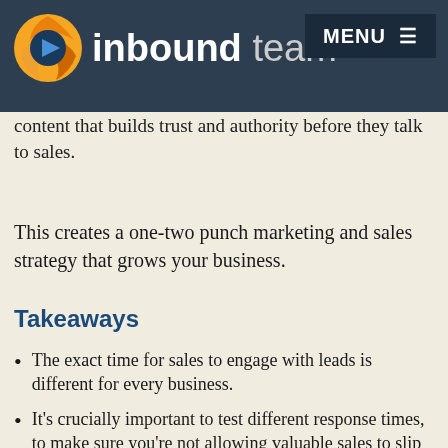inbound team | MENU
content that builds trust and authority before they talk to sales.
This creates a one-two punch marketing and sales strategy that grows your business.
Takeaways
The exact time for sales to engage with leads is different for every business.
It's crucially important to test different response times, to make sure you're not allowing valuable sales to slip away.
Before sales talks to leads, make sure your leads have been primed with useful content (by